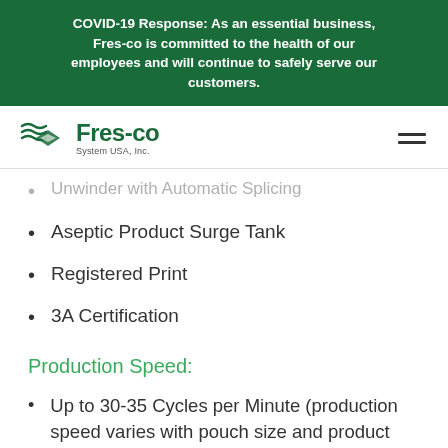COVID-19 Response: As an essential business, Fres-co is committed to the health of our employees and will continue to safely serve our customers.
[Figure (logo): Fres-co System USA, Inc. logo with green wave/diamond icon and company name]
Unwinder with Automatic Splicing
Aseptic Product Surge Tank
Registered Print
3A Certification
Production Speed:
Up to 30-35 Cycles per Minute (production speed varies with pouch size and product characteristics)